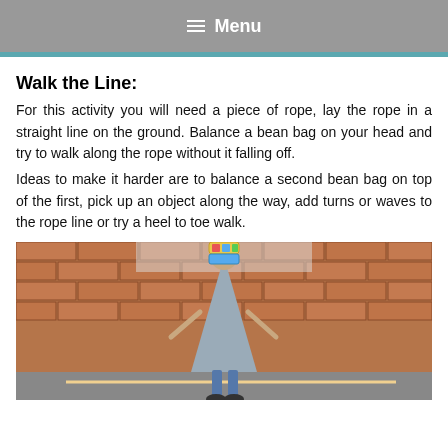≡ Menu
Walk the Line:
For this activity you will need a piece of rope, lay the rope in a straight line on the ground. Balance a bean bag on your head and try to walk along the rope without it falling off.
Ideas to make it harder are to balance a second bean bag on top of the first, pick up an object along the way, add turns or waves to the rope line or try a heel to toe walk.
[Figure (photo): Photo of a child balancing a bean bag on their head while walking along a rope line, with a brick wall in the background.]